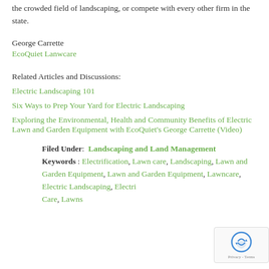the crowded field of landscaping, or compete with every other firm in the state.
George Carrette
EcoQuiet Lanwcare
Related Articles and Discussions:
Electric Landscaping 101
Six Ways to Prep Your Yard for Electric Landscaping
Exploring the Environmental, Health and Community Benefits of Electric Lawn and Garden Equipment with EcoQuiet's George Carrette (Video)
Filed Under:  Landscaping and Land Management
Keywords : Electrification, Lawn care, Landscaping, Lawn and Garden Equipment, Lawn and Garden Equipment, Lawncare, Electric Landscaping, Electric Care, Lawns